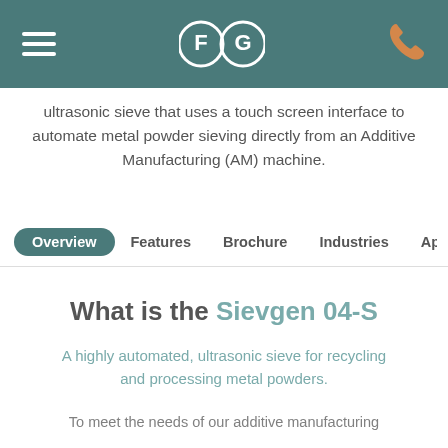FG [logo] — navigation header with hamburger menu and phone icon
ultrasonic sieve that uses a touch screen interface to automate metal powder sieving directly from an Additive Manufacturing (AM) machine.
Overview | Features | Brochure | Industries | Applications
What is the Sievgen 04-S
A highly automated, ultrasonic sieve for recycling and processing metal powders.
To meet the needs of our additive manufacturing